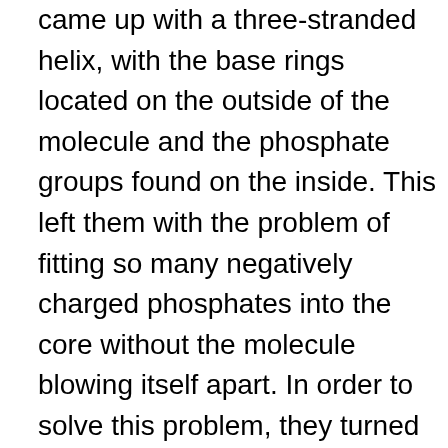came up with a three-stranded helix, with the base rings located on the outside of the molecule and the phosphate groups found on the inside. This left them with the problem of fitting so many negatively charged phosphates into the core without the molecule blowing itself apart. In order to solve this problem, they turned to Pauling's own The Nature of the Chemical Bond. They were looking for positive ions that would fit into the core of DNA, therefore canceling the negative charge. They found magnesium and calcium to be possibilities, but there was no significant evidence that these ions were in DNA. However, there was no evidence against it either, so they ran with the idea.
Watson and Crick assumed – as would Pauling in his later attempt – that the finer details would fall into place. Overjoyed at solving DNA so quickly, they invited Wilkins